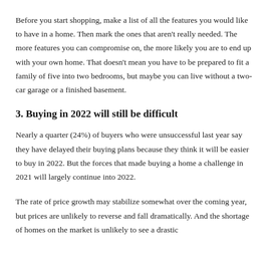Before you start shopping, make a list of all the features you would like to have in a home. Then mark the ones that aren't really needed. The more features you can compromise on, the more likely you are to end up with your own home. That doesn't mean you have to be prepared to fit a family of five into two bedrooms, but maybe you can live without a two-car garage or a finished basement.
3. Buying in 2022 will still be difficult
Nearly a quarter (24%) of buyers who were unsuccessful last year say they have delayed their buying plans because they think it will be easier to buy in 2022. But the forces that made buying a home a challenge in 2021 will largely continue into 2022.
The rate of price growth may stabilize somewhat over the coming year, but prices are unlikely to reverse and fall dramatically. And the shortage of homes on the market is unlikely to see a drastic